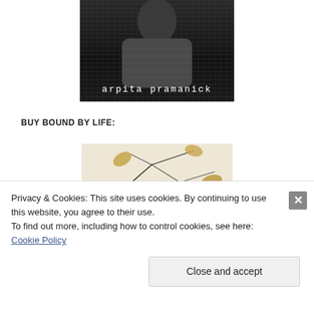[Figure (photo): Black and white photo showing a person wearing a knit sweater, with text 'arpita pramanick' overlaid at the bottom]
BUY BOUND BY LIFE:
[Figure (photo): Color photo of bare branches with dried autumn leaves against a light background]
Privacy & Cookies: This site uses cookies. By continuing to use this website, you agree to their use.
To find out more, including how to control cookies, see here: Cookie Policy
Close and accept